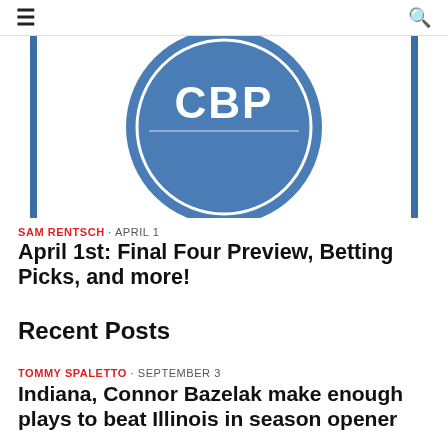≡  🔍
[Figure (logo): Circular badge logo for a College Basketball Podcast, blue and white design with circular text reading 'COLLEGE BASKETBALL PODCAST']
SAM RENTSCH · APRIL 1
April 1st: Final Four Preview, Betting Picks, and more!
Recent Posts
TOMMY SPALETTO · SEPTEMBER 3
Indiana, Connor Bazelak make enough plays to beat Illinois in season opener